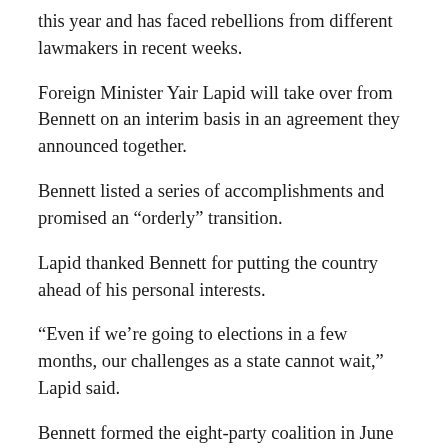this year and has faced rebellions from different lawmakers in recent weeks.
Foreign Minister Yair Lapid will take over from Bennett on an interim basis in an agreement they announced together.
Bennett listed a series of accomplishments and promised an “orderly” transition.
Lapid thanked Bennett for putting the country ahead of his personal interests.
“Even if we’re going to elections in a few months, our challenges as a state cannot wait,” Lapid said.
Bennett formed the eight-party coalition in June 2021 after four successive inconclusive elections.
It included a diverse array of parties, from dovish factions that support an end to Israel’s occupation of lands captured